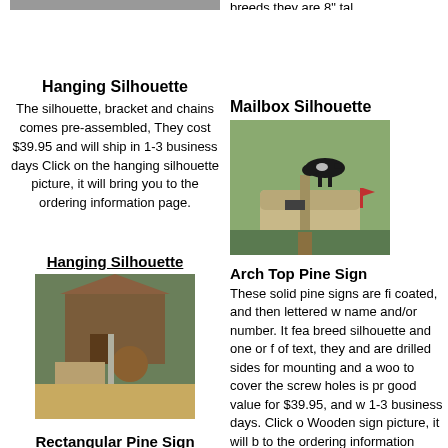[Figure (photo): Top-left partial image strip showing a gray/brown scene]
breeds they are 8" tal
Hanging Silhouette
The silhouette, bracket and chains comes pre-assembled, They cost $39.95 and will ship in 1-3 business days Click on the hanging silhouette picture, it will bring you to the ordering information page.
Mailbox Silhouette
[Figure (photo): Photo of a mailbox with a cow silhouette on top, mounted on a wooden post]
Hanging Silhouette
[Figure (photo): Photo of a barn scene with a cow silhouette in front of an old wooden barn]
Arch Top Pine Sign
These solid pine signs are fi coated, and then lettered w name and/or number. It fea breed silhouette and one or of text, they and are drilled sides for mounting and a woo to cover the screw holes is pr good value for $39.95, and w 1-3 business days. Click o Wooden sign picture, it will b to the ordering information
Rectangular Pine Sign
These solid pine signs are first clear coated, and then lettered with your name and/or number. It features a breed
Archtop Wood Sign